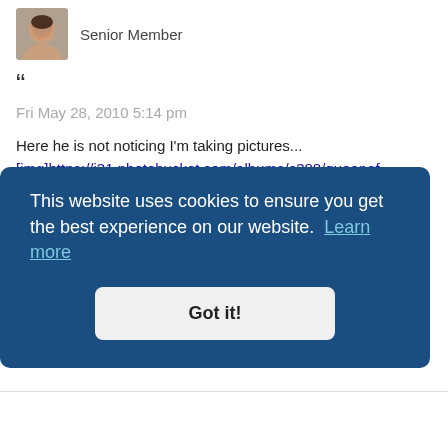[Figure (photo): Small avatar photo of a woman (Senior Member profile picture)]
Senior Member
“
Fri May 28, 2010 5:14 pm
Here he is not noticing I'm taking pictures...
[img]https://i31.photobucket.com/albums/c388/queenof
And Here I'm busted!
[img]https://i31.photobucket.com/albums/c388/queenof
And of course him booking it inside until the "evil flashy thing goes AWAY!"
[img]https://i31.photobucket.com/albums/c388/queenof
This website uses cookies to ensure you get the best experience on our website. Learn more
Got it!